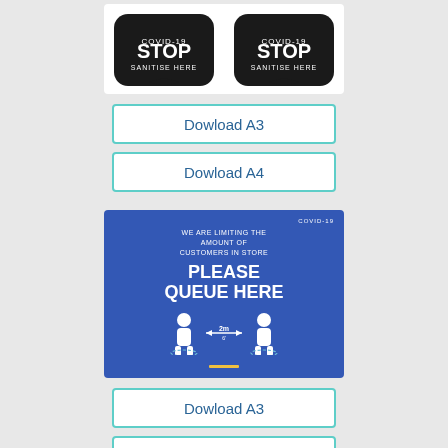[Figure (illustration): Two black arrow-shaped STOP SANITISE HERE signs side by side]
Dowload A3
Dowload A4
[Figure (illustration): Blue COVID-19 poster: WE ARE LIMITING THE AMOUNT OF CUSTOMERS IN STORE. PLEASE QUEUE HERE. Two person icons with 2m distance arrow.]
Dowload A3
Dowload A4
[Figure (illustration): Yellow and black hazard stripe at bottom of page]